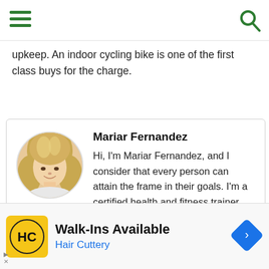upkeep. An indoor cycling bike is one of the first class buys for the charge.
[Figure (photo): Author profile card with circular headshot photo of a blonde woman (Mariar Fernandez), name in bold, and bio text.]
Mariar Fernandez
Hi, I'm Mariar Fernandez, and I consider that every person can attain the frame in their goals. I'm a certified health and fitness trainer and have helped customers acquire their dream
[Figure (photo): Advertisement banner for Hair Cuttery featuring HC logo on yellow background and text 'Walk-Ins Available' with blue subtitle 'Hair Cuttery' and a blue navigation arrow icon on the right.]